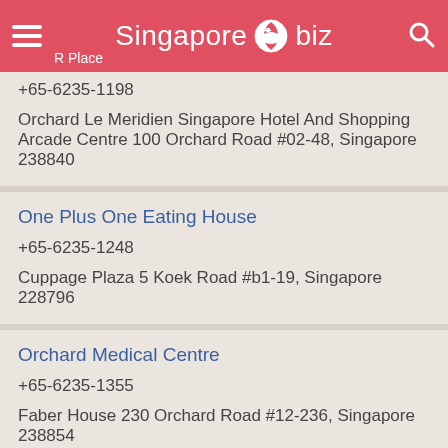Singapore.biz — PR Place
+65-6235-1198
Orchard Le Meridien Singapore Hotel And Shopping Arcade Centre 100 Orchard Road #02-48, Singapore 238840
One Plus One Eating House
+65-6235-1248
Cuppage Plaza 5 Koek Road #b1-19, Singapore 228796
Orchard Medical Centre
+65-6235-1355
Faber House 230 Orchard Road #12-236, Singapore 238854
Tan Chiew Hong